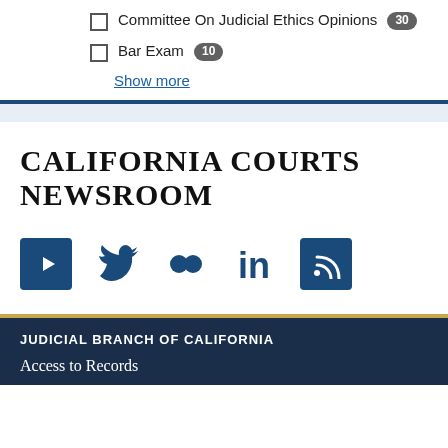Committee On Judicial Ethics Opinions 30
Bar Exam 10
Show more
CALIFORNIA COURTS NEWSROOM
[Figure (infographic): Social media icons: YouTube, Twitter, Flickr, LinkedIn, RSS feed]
JUDICIAL BRANCH OF CALIFORNIA
Access to Records